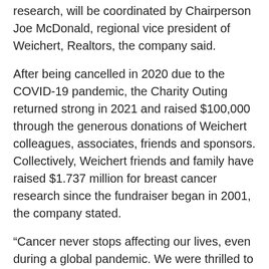research, will be coordinated by Chairperson Joe McDonald, regional vice president of Weichert, Realtors, the company said.
After being cancelled in 2020 due to the COVID-19 pandemic, the Charity Outing returned strong in 2021 and raised $100,000 through the generous donations of Weichert colleagues, associates, friends and sponsors. Collectively, Weichert friends and family have raised $1.737 million for breast cancer research since the fundraiser began in 2001, the company stated.
“Cancer never stops affecting our lives, even during a global pandemic. We were thrilled to be back on the golf course last year and raising funds for the ACS,” McDonald said. “After emerging more fully from pandemic restrictions, we hope this year’s event will